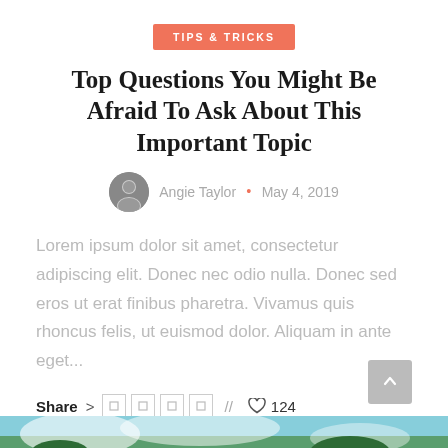TIPS & TRICKS
Top Questions You Might Be Afraid To Ask About This Important Topic
Angie Taylor • May 4, 2019
Lorem ipsum dolor sit amet, consectetur adipiscing elit. Donec nec odio nulla. Donec sed eros ut erat finibus pharetra. Vivamus quis rhoncus felis, ut euismod dolor. Aliquam in ante eget...
Share > 124
[Figure (photo): Bottom portion of a landscape photo showing sky and greenery]